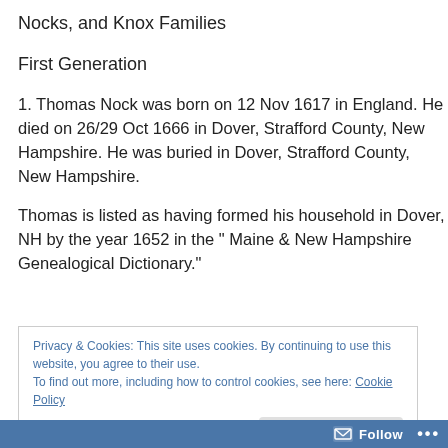Nocks, and Knox Families
First Generation
1. Thomas Nock was born on 12 Nov 1617 in England. He died on 26/29 Oct 1666 in Dover, Strafford County, New Hampshire. He was buried in Dover, Strafford County, New Hampshire.
Thomas is listed as having formed his household in Dover, NH by the year 1652 in the " Maine & New Hampshire Genealogical Dictionary."
Privacy & Cookies: This site uses cookies. By continuing to use this website, you agree to their use.
To find out more, including how to control cookies, see here: Cookie Policy
Follow